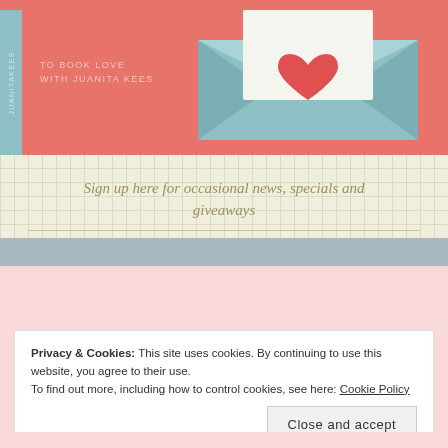[Figure (illustration): Blog newsletter signup widget with grid paper background, coral/pink header with envelope and heart illustration, vertical teal sidebar with 'JUANITAKEES' text, 'TO BOOK LOVE WITH JUANITA KEES' text overlay]
Sign up here for occasional news, specials and giveaways
Receive Notification of New
Privacy & Cookies: This site uses cookies. By continuing to use this website, you agree to their use.
To find out more, including how to control cookies, see here: Cookie Policy
Close and accept